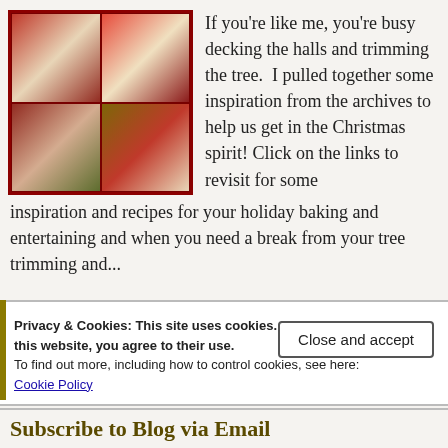[Figure (photo): Photo mosaic of Christmas holiday food and decoration images, showing festive dishes, desserts, and Christmas wreath decorations in red and green tones, with a dark red border.]
If you're like me, you're busy decking the halls and trimming the tree.  I pulled together some inspiration from the archives to help us get in the Christmas spirit! Click on the links to revisit for some inspiration and recipes for your holiday baking and entertaining and when you need a break from your tree trimming and...
Privacy & Cookies: This site uses cookies. By continuing to use this website, you agree to their use.
To find out more, including how to control cookies, see here:
Cookie Policy
Close and accept
Subscribe to Blog via Email